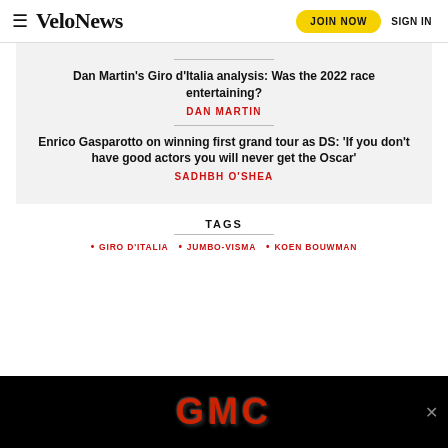VeloNews  JOIN NOW  SIGN IN
Dan Martin's Giro d'Italia analysis: Was the 2022 race entertaining?
DAN MARTIN
Enrico Gasparotto on winning first grand tour as DS: 'If you don't have good actors you will never get the Oscar'
SADHBH O'SHEA
TAGS
GIRO D'ITALIA
JUMBO-VISMA
KOEN BOUWMAN
[Figure (photo): GMC advertisement banner with red GMC logo text on black background]